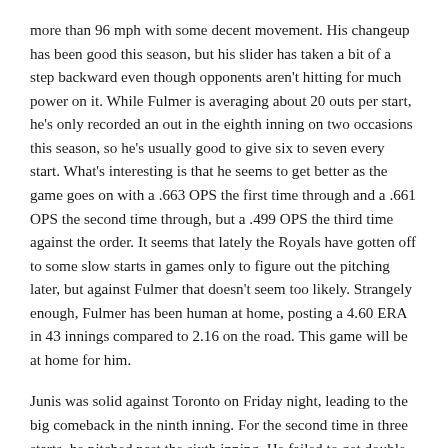more than 96 mph with some decent movement. His changeup has been good this season, but his slider has taken a bit of a step backward even though opponents aren't hitting for much power on it. While Fulmer is averaging about 20 outs per start, he's only recorded an out in the eighth inning on two occasions this season, so he's usually good to give six to seven every start. What's interesting is that he seems to get better as the game goes on with a .663 OPS the first time through and a .661 OPS the second time through, but a .499 OPS the third time against the order. It seems that lately the Royals have gotten off to some slow starts in games only to figure out the pitching later, but against Fulmer that doesn't seem too likely. Strangely enough, Fulmer has been human at home, posting a 4.60 ERA in 43 innings compared to 2.16 on the road. This game will be at home for him.
Junis was solid against Toronto on Friday night, leading to the big comeback in the ninth inning. For the second time in three starts, he pitched past the sixth inning. He failed to get double digit